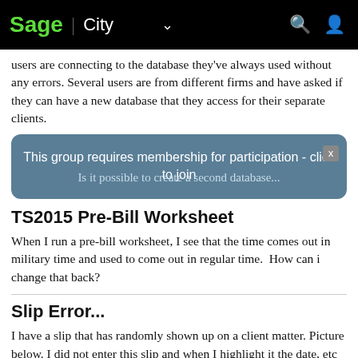Sage City
users are connecting to the database they've always used without any errors. Several users are from different firms and have asked if they can have a new database that they access for their separate clients.
This group requires membership for participation - click to join
Is it possible to create a second database...
TS2015 Pre-Bill Worksheet
When I run a pre-bill worksheet, I see that the time comes out in military time and used to come out in regular time.  How can i change that back?
Slip Error...
I have a slip that has randomly shown up on a client matter. Picture below. I did not enter this slip and when I highlight it the date, etc are not the same as in the slip list. Also the program will not let me delete the slip. Any ideas? I have